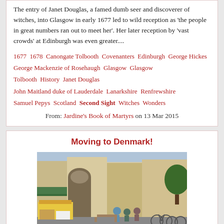The entry of Janet Douglas, a famed dumb seer and discoverer of witches, into Glasgow in early 1677 led to wild reception as 'the people in great numbers ran out to meet her'. Her later reception by 'vast crowds' at Edinburgh was even greater....
1677  1678  Canongate Tolbooth  Covenanters  Edinburgh  George Hickes  George Mackenzie of Rosehaugh  Glasgow  Glasgow Tolbooth  History  Janet Douglas  John Maitland duke of Lauderdale  Lanarkshire  Renfrewshire  Samuel Pepys  Scotland  Second Sight  Witches  Wonders
From: Jardine's Book of Martyrs on 13 Mar 2015
Moving to Denmark!
[Figure (photo): Street market scene in Copenhagen, Denmark, showing outdoor vendors with produce and goods, people sitting at tables, bicycles, and European-style buildings in the background.]
My exciting research period in Copenhagen started on March 1, 2013. I found a beautiful one-bedroom flat at Blågårds Plads in the vibrant district of Nørrebro, about 10 minutes walk from the busy train station Nørreport (though I soon discovered that...